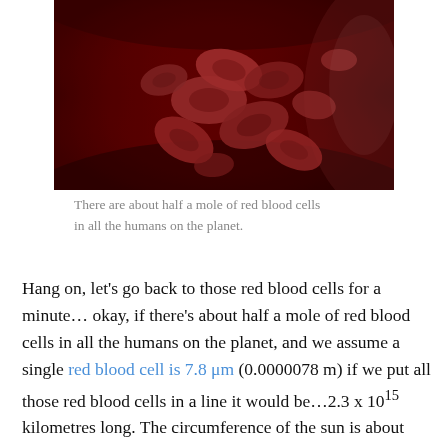[Figure (photo): Illustration of red blood cells flowing inside a blood vessel, shown in dark red tones with multiple biconcave disc-shaped cells clustered together.]
There are about half a mole of red blood cells in all the humans on the planet.
Hang on, let’s go back to those red blood cells for a minute… okay, if there’s about half a mole of red blood cells in all the humans on the planet, and we assume a single red blood cell is 7.8 μm (0.0000078 m) if we put all those red blood cells in a line it would be…2.3 x 10^15 kilometres long. The circumference of the sun is about 4,400,000 kilometres so…